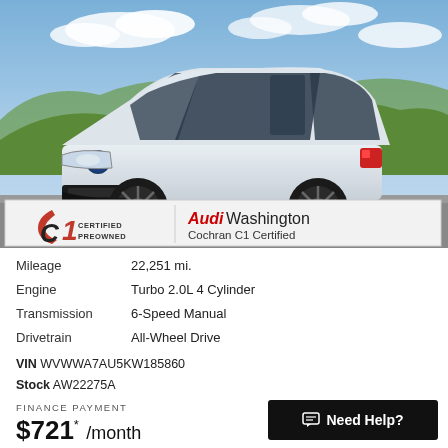[Figure (photo): White Volkswagen Golf R hatchback with black wheels parked on a road with green hills and cloudy blue sky in the background. A Cochran C1 Certified Preowned / Audi Washington dealer banner is overlaid at the bottom of the image.]
Mileage  22,251 mi.
Engine  Turbo 2.0L 4 Cylinder
Transmission  6-Speed Manual
Drivetrain  All-Wheel Drive
VIN WVWWA7AU5KW185860
Stock AW22275A
FINANCE PAYMENT
$721* /month
Need Help?